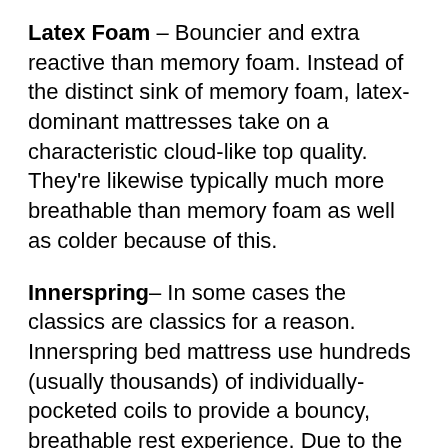Latex Foam – Bouncier and extra reactive than memory foam. Instead of the distinct sink of memory foam, latex-dominant mattresses take on a characteristic cloud-like top quality. They're likewise typically much more breathable than memory foam as well as colder because of this.
Innerspring– In some cases the classics are classics for a reason. Innerspring bed mattress use hundreds (usually thousands) of individually-pocketed coils to provide a bouncy, breathable rest experience. Due to the coils' individually-pocketed nature, they don't impact each other, making for outstanding side support and also natural activity isolation.